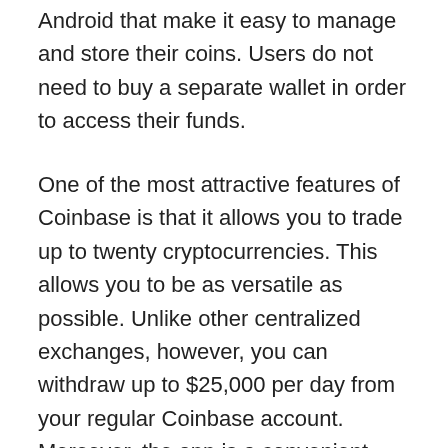Android that make it easy to manage and store their coins. Users do not need to buy a separate wallet in order to access their funds.
One of the most attractive features of Coinbase is that it allows you to trade up to twenty cryptocurrencies. This allows you to be as versatile as possible. Unlike other centralized exchanges, however, you can withdraw up to $25,000 per day from your regular Coinbase account. Moreover, the app is a convenient way to conduct transactions while on the go. The only drawbacks of Coinbase are the long verification process, which can take up to two weeks.
Another benefit of Coinbase is that users can deposit their coins through a variety of payment